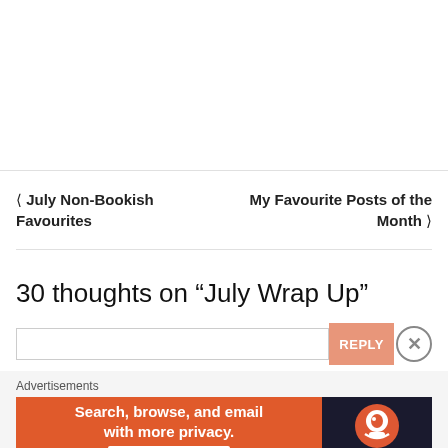< July Non-Bookish Favourites
My Favourite Posts of the Month >
30 thoughts on “July Wrap Up”
REPLY
[Figure (screenshot): DuckDuckGo advertisement banner: orange background with text 'Search, browse, and email with more privacy. All in One Free App' and DuckDuckGo logo on dark background]
Advertisements
REPORT THIS AD